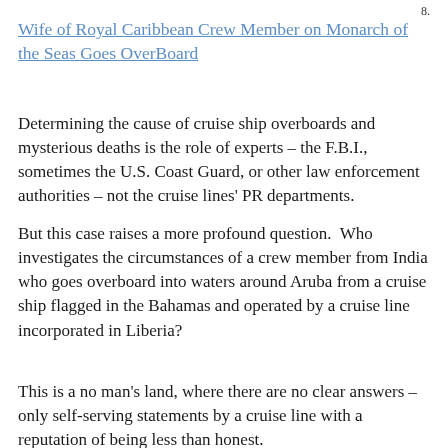8.
Wife of Royal Caribbean Crew Member on Monarch of the Seas Goes OverBoard
Determining the cause of cruise ship overboards and mysterious deaths is the role of experts – the F.B.I., sometimes the U.S. Coast Guard, or other law enforcement authorities – not the cruise lines' PR departments.
But this case raises a more profound question.  Who investigates the circumstances of a crew member from India who goes overboard into waters around Aruba from a cruise ship flagged in the Bahamas and operated by a cruise line incorporated in Liberia?
This is a no man's land, where there are no clear answers – only self-serving statements by a cruise line with a reputation of being less than honest.